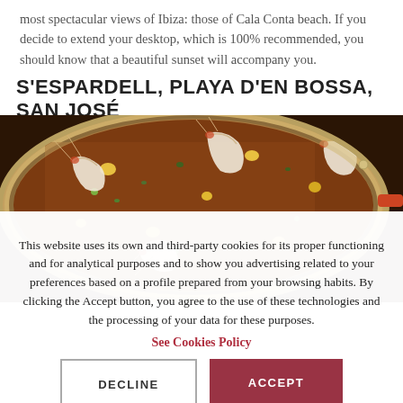most spectacular views of Ibiza: those of Cala Conta beach. If you decide to extend your desktop, which is 100% recommended, you should know that a beautiful sunset will accompany you.
S'ESPARDELL, PLAYA D'EN BOSSA, SAN JOSÉ
[Figure (photo): A close-up photo of a large paella pan filled with rice, prawns/shrimp, vegetables and herbs, with an orange handle visible on the right side.]
This website uses its own and third-party cookies for its proper functioning and for analytical purposes and to show you advertising related to your preferences based on a profile prepared from your browsing habits. By clicking the Accept button, you agree to the use of these technologies and the processing of your data for these purposes.
See Cookies Policy
DECLINE
ACCEPT